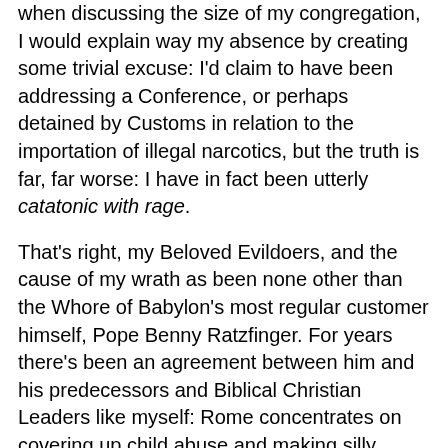when discussing the size of my congregation, I would explain way my absence by creating some trivial excuse: I'd claim to have been addressing a Conference, or perhaps detained by Customs in relation to the importation of illegal narcotics, but the truth is far, far worse: I have in fact been utterly catatonic with rage.
That's right, my Beloved Evildoers, and the cause of my wrath as been none other than the Whore of Babylon's most regular customer himself, Pope Benny Ratzfinger. For years there's been an agreement between him and his predecessors and Biblical Christian Leaders like myself: Rome concentrates on covering up child abuse and making silly pronouncements concerning contraceptives, while we cover up financial improprieties and insult women. He protects kiddie-fiddlers and I say stupid things about human sexuality. It's been a clear divide, and it's worked well, with both of us in full agreement when it comes to turning a blind eye to homos when they're happy lying about themselves.
Yet completely out of the blue St. Peter's latest chair-warmer suddenly decided to ignore this sacred tradition, and I'm not ashamed to say I was left incandescent with anger. After all,